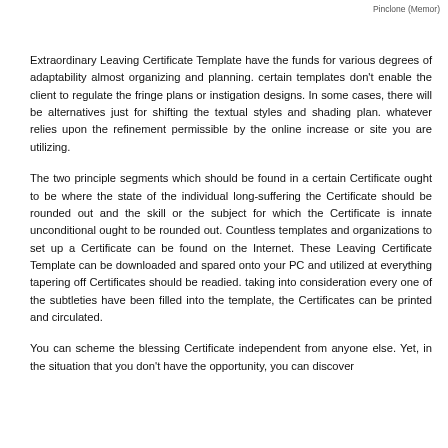Pinclone (Memor)
Extraordinary Leaving Certificate Template have the funds for various degrees of adaptability almost organizing and planning. certain templates don't enable the client to regulate the fringe plans or instigation designs. In some cases, there will be alternatives just for shifting the textual styles and shading plan. whatever relies upon the refinement permissible by the online increase or site you are utilizing.
The two principle segments which should be found in a certain Certificate ought to be where the state of the individual long-suffering the Certificate should be rounded out and the skill or the subject for which the Certificate is innate unconditional ought to be rounded out. Countless templates and organizations to set up a Certificate can be found on the Internet. These Leaving Certificate Template can be downloaded and spared onto your PC and utilized at everything tapering off Certificates should be readied. taking into consideration every one of the subtleties have been filled into the template, the Certificates can be printed and circulated.
You can scheme the blessing Certificate independent from anyone else. Yet, in the situation that you don't have the opportunity, you can discover